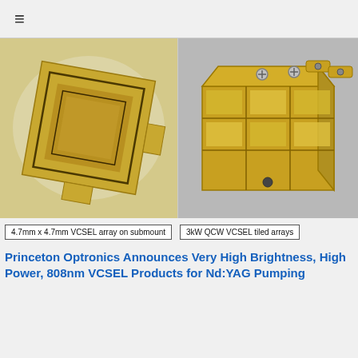≡
[Figure (photo): Close-up photo of a 4.7mm x 4.7mm VCSEL array on a gold submount, showing the square chip with etched border on a reflective background.]
[Figure (photo): Photo of 3kW QCW VCSEL tiled arrays mounted on a gold metallic block assembly with screws visible on top.]
4.7mm x 4.7mm VCSEL array on submount
3kW QCW VCSEL tiled arrays
Princeton Optronics Announces Very High Brightness, High Power, 808nm VCSEL Products for Nd:YAG Pumping